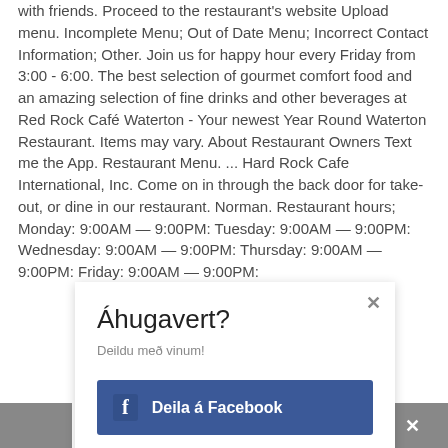with friends. Proceed to the restaurant's website Upload menu. Incomplete Menu; Out of Date Menu; Incorrect Contact Information; Other. Join us for happy hour every Friday from 3:00 - 6:00. The best selection of gourmet comfort food and an amazing selection of fine drinks and other beverages at Red Rock Café Waterton - Your newest Year Round Waterton Restaurant. Items may vary. About Restaurant Owners Text me the App. Restaurant Menu. ... Hard Rock Cafe International, Inc. Come on in through the back door for take-out, or dine in our restaurant. Norman. Restaurant hours; Monday: 9:00AM — 9:00PM: Tuesday: 9:00AM — 9:00PM: Wednesday: 9:00AM — 9:00PM: Thursday: 9:00AM — 9:00PM: Friday: 9:00AM — 9:00PM:
[Figure (screenshot): A modal/popup overlay with title 'Áhugavert?', subtitle 'Deildu með vinum!', and a Facebook share button labeled 'Deila á Facebook'. A close (×) button is in the top-right corner of the overlay. Gray bars appear at the bottom-left and bottom-right corners of the page.]